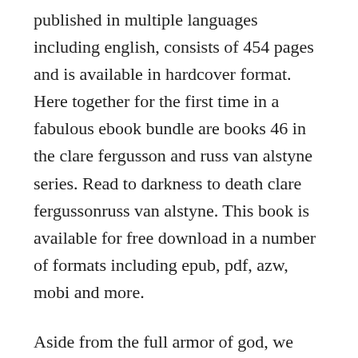published in multiple languages including english, consists of 454 pages and is available in hardcover format. Here together for the first time in a fabulous ebook bundle are books 46 in the clare fergusson and russ van alstyne series. Read to darkness to death clare fergussonruss van alstyne. This book is available for free download in a number of formats including epub, pdf, azw, mobi and more.
Aside from the full armor of god, we cannot stand a moment against such evil. Free download books online the book of the dead